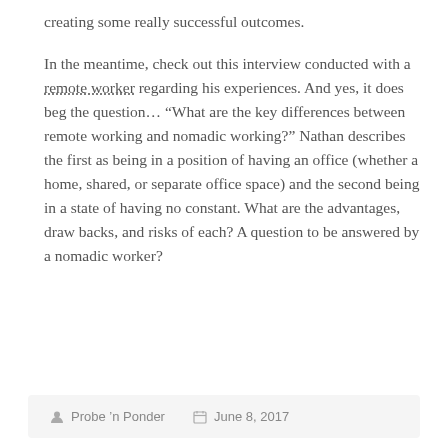creating some really successful outcomes.
In the meantime, check out this interview conducted with a remote worker regarding his experiences. And yes, it does beg the question… “What are the key differences between remote working and nomadic working?” Nathan describes the first as being in a position of having an office (whether a home, shared, or separate office space) and the second being in a state of having no constant. What are the advantages, draw backs, and risks of each? A question to be answered by a nomadic worker?
Probe ’n Ponder   June 8, 2017